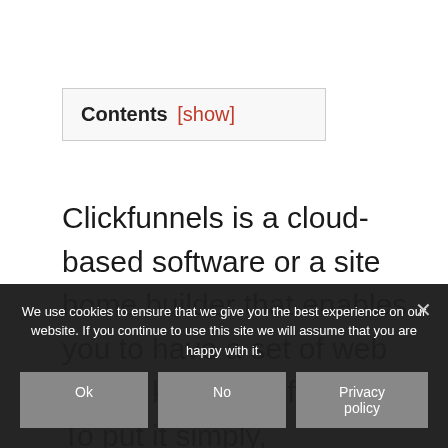Contents [show]
Clickfunnels is a cloud-based software or a site home builder that enables you to have a set of web pages known as funnels. To put it simply, Clickfunnels
We use cookies to ensure that we give you the best experience on our website. If you continue to use this site we will assume that you are happy with it.